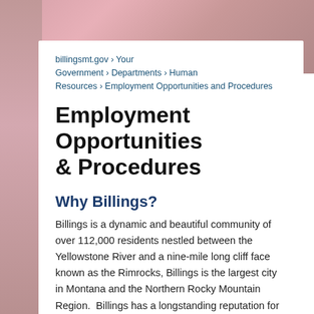billingsmt.gov › Your Government › Departments › Human Resources › Employment Opportunities and Procedures
Employment Opportunities & Procedures
Why Billings?
Billings is a dynamic and beautiful community of over 112,000 residents nestled between the Yellowstone River and a nine-mile long cliff face known as the Rimrocks, Billings is the largest city in Montana and the Northern Rocky Mountain Region.  Billings has a longstanding reputation for being well-managed, and the community has consistently supported a professionally-operated and innovative local